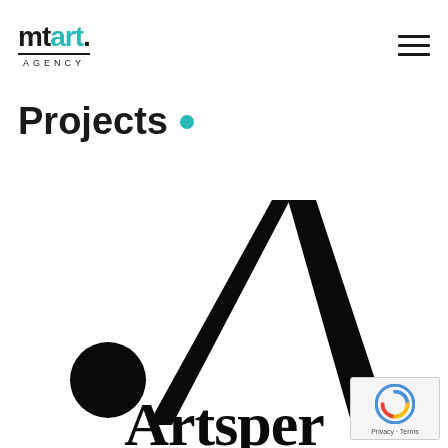[Figure (logo): mtart. AGENCY logo — 'mt' in black bold, 'art' in teal bold, '.' in black, with a horizontal underline and 'AGENCY' in small spaced caps below]
[Figure (logo): Hamburger menu icon — three horizontal black lines]
Projects .
[Figure (logo): Artsper logo — a large stylized letter A with thick strokes and a dot (period) to the left, with the word 'Artsper' in large bold serif type below, all in black on white]
[Figure (other): reCAPTCHA badge widget — Privacy · Terms]